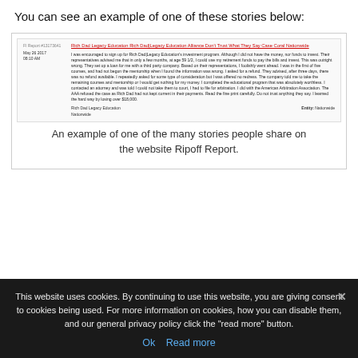You can see an example of one of these stories below:
[Figure (screenshot): A screenshot of a Ripoff Report complaint about Rich Dad Legacy Education / Rich Dad|Legacy Education Alliance, dated May 26 2017, 08:10 AM. The complaint title in red/orange reads: 'Rich Dad Legacy Education Rich Dad|Legacy Education Alliance Don't Trust What They Say Case Coral Nationwide'. The body text describes a consumer's negative experience with Rich Dad Legacy Education's investment program, losing over $18,000. Footer shows: 'Rich Dad Legacy Education' / 'Entity: Nationwide' / 'Nationwide'.]
An example of one of the many stories people share on the website Ripoff Report.
This website uses cookies. By continuing to use this website, you are giving consent to cookies being used. For more information on cookies, how you can disable them, and our general privacy policy click the "read more" button.
Ok   Read more